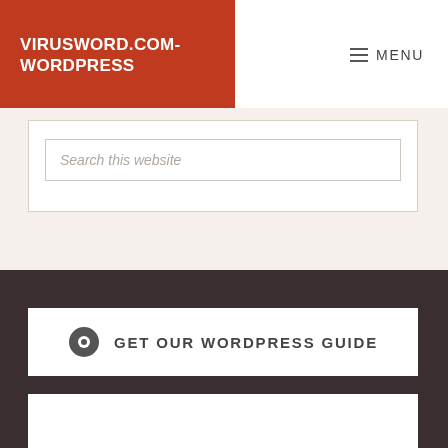VIRUSWORD.COM-WORDPRESS
MENU
Search this website
GET OUR WORDPRESS GUIDE